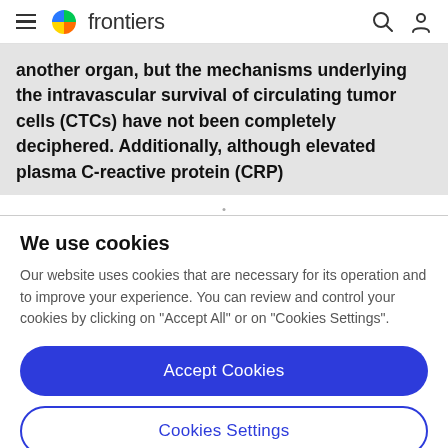frontiers
another organ, but the mechanisms underlying the intravascular survival of circulating tumor cells (CTCs) have not been completely deciphered. Additionally, although elevated plasma C-reactive protein (CRP)
We use cookies
Our website uses cookies that are necessary for its operation and to improve your experience. You can review and control your cookies by clicking on "Accept All" or on "Cookies Settings".
Accept Cookies
Cookies Settings